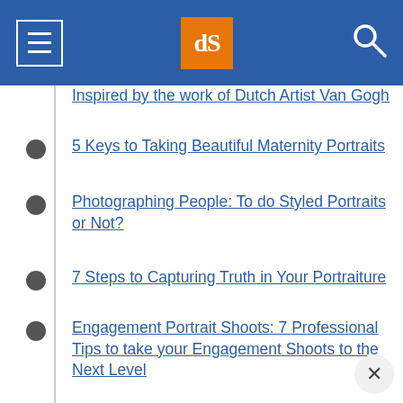[Figure (screenshot): Blue navigation bar with hamburger menu icon on left, orange dPS logo in center, and search icon on right]
Inspired by the work of Dutch Artist Van Gogh
5 Keys to Taking Beautiful Maternity Portraits
Photographing People: To do Styled Portraits or Not?
7 Steps to Capturing Truth in Your Portraiture
Engagement Portrait Shoots: 7 Professional Tips to take your Engagement Shoots to the Next Level
Personalities and Portraits – and Getting Them to Mix
3 Reasons to Have Your Own Portrait Taken